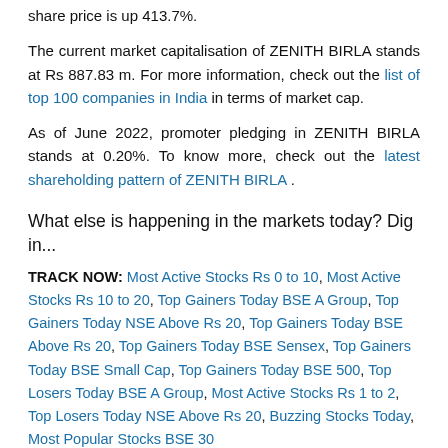share price is up 413.7%.
The current market capitalisation of ZENITH BIRLA stands at Rs 887.83 m. For more information, check out the list of top 100 companies in India in terms of market cap.
As of June 2022, promoter pledging in ZENITH BIRLA stands at 0.20%. To know more, check out the latest shareholding pattern of ZENITH BIRLA .
What else is happening in the markets today? Dig in...
TRACK NOW: Most Active Stocks Rs 0 to 10, Most Active Stocks Rs 10 to 20, Top Gainers Today BSE A Group, Top Gainers Today NSE Above Rs 20, Top Gainers Today BSE Above Rs 20, Top Gainers Today BSE Sensex, Top Gainers Today BSE Small Cap, Top Gainers Today BSE 500, Top Losers Today BSE A Group, Most Active Stocks Rs 1 to 2, Top Losers Today NSE Above Rs 20, Buzzing Stocks Today, Most Popular Stocks BSE 30
SCREEN: Warren Buffett Type Of Stocks, Most Undervalued (P/E), Best Dividend Yield Stocks, Fastest Growing Companies (By Sales/Income)